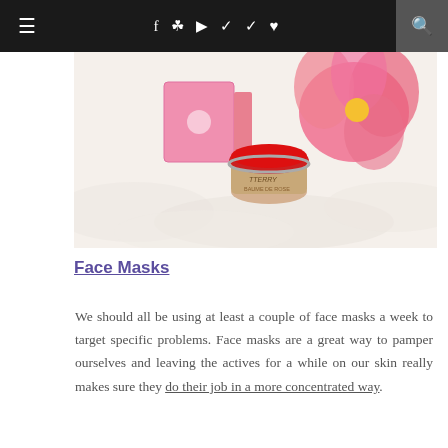≡   f  Instagram  YouTube  Twitter  Pinterest  ♥   🔍
[Figure (photo): Product photo showing a pink By Terry cosmetic jar with red lid on a white fluffy surface, with a pink flower in the background]
Face Masks
We should all be using at least a couple of face masks a week to target specific problems. Face masks are a great way to pamper ourselves and leaving the actives for a while on our skin really makes sure they do their job in a more concentrated way.